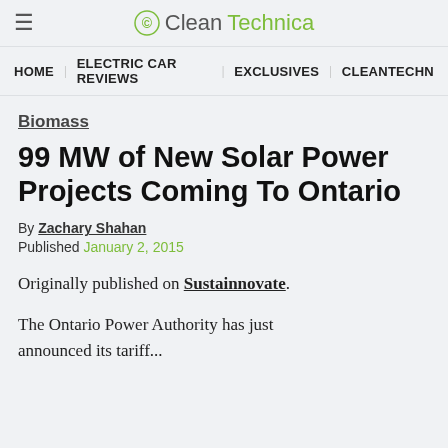≡  CleanTechnica
HOME  |  ELECTRIC CAR REVIEWS  |  EXCLUSIVES  |  CLEANTECHN
Biomass
99 MW of New Solar Power Projects Coming To Ontario
By Zachary Shahan
Published January 2, 2015
Originally published on Sustainnovate.
The Ontario Power Authority has just announced its tariff...